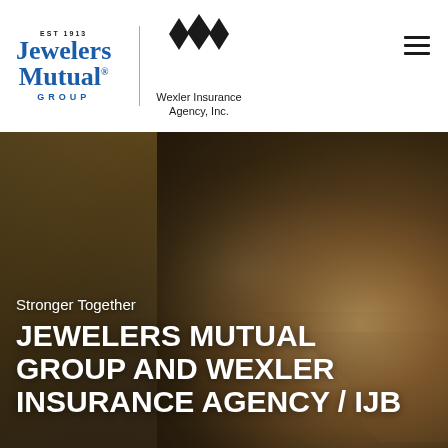[Figure (logo): Jewelers Mutual Group logo with 'EST 1913' above and blue serif text reading 'Jewelers Mutual® GROUP', alongside a vertical divider and the Wexler Insurance Agency, Inc. logo featuring black diamond shapes and the company name in sans-serif text]
[Figure (illustration): Hamburger menu icon (three horizontal lines) in the top-right corner]
[Figure (photo): Full-width hero image showing a blurred close-up of hands holding or examining jewelry (a diamond ring), with warm golden-brown bokeh background. Overlaid with text.]
Stronger Together
JEWELERS MUTUAL GROUP AND WEXLER INSURANCE AGENCY / IJB